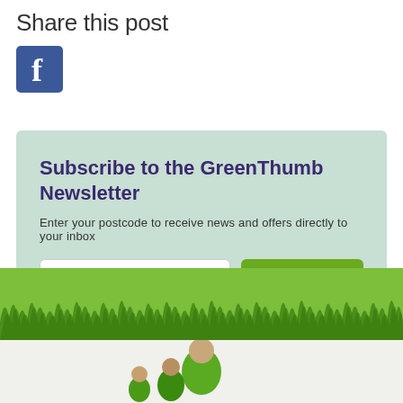Share this post
[Figure (logo): Facebook logo icon — blue square with white letter f]
Subscribe to the GreenThumb Newsletter
Enter your postcode to receive news and offers directly to your inbox
[Figure (illustration): Green grass strip illustration at bottom of page]
[Figure (illustration): GreenThumb mascot character figures at bottom footer]